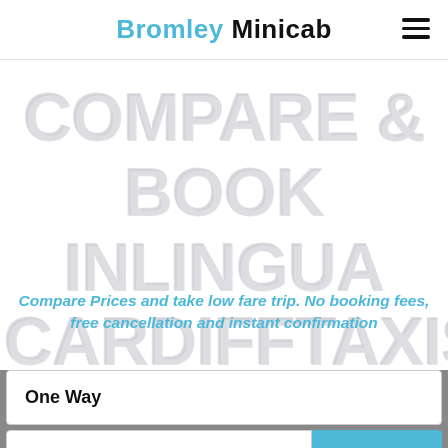Bromley Minicab
COMPARE & BOOK INLINGUA CARDIFFTAXIS
Compare Prices and take low fare trip. No booking fees, free cancellation and instant confirmation
One Way
Pick Up Address
VIA +
Drop Off Address